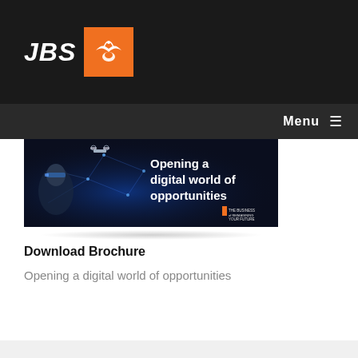JBS — Menu
[Figure (illustration): Banner image with dark blue digital/technology theme showing a person wearing AR headset and a drone, with text 'Opening a digital world of opportunities' and tagline 'THE BUSINESS of REIMAGINING YOUR FUTURE']
Download Brochure
Opening a digital world of opportunities